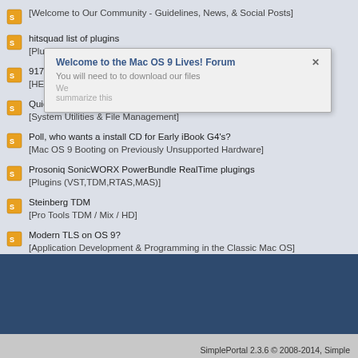[Welcome to Our Community - Guidelines, News, & Social Posts]
hitsquad list of plugins
[Plugins (VST,TDM,RTAS,MAS)]
917Mhz from 1.25Mhz DUAL left. Is my G4 dead?
[HELP BOARD ! Installing & Troubleshooting the Classic Mac OS]
Quicksilver sound sizzles in Mac OS 9.2.1
[System Utilities & File Management]
Poll, who wants a install CD for Early iBook G4's?
[Mac OS 9 Booting on Previously Unsupported Hardware]
Prosoniq SonicWORX PowerBundle RealTime plugings
[Plugins (VST,TDM,RTAS,MAS)]
Steinberg TDM
[Pro Tools TDM / Mix / HD]
Modern TLS on OS 9?
[Application Development & Programming in the Classic Mac OS]
Ableton Live v4.14 *NOW AVAILABLE!*
[Live! by Ableton]
yellow tools majestic
[Sampler Software, Sample CDs, & Sample Libaries]
SimplePortal 2.3.6 © 2008-2014, Simple